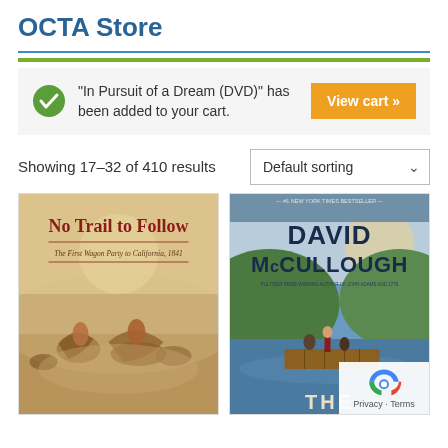OCTA Store
“In Pursuit of a Dream (DVD)” has been added to your cart.
View cart »
Showing 17–32 of 410 results
Default sorting
[Figure (photo): Book cover: No Trail to Follow — The First Wagon Party to California, 1841. Shows a scene of riders on horseback in a historical painting style.]
[Figure (photo): Book cover: David McCullough — #1 New York Times Bestseller. Pulitzer Prize-winning author of John Adams and 1776. Shows a scenic river/landscape illustration with a raft.]